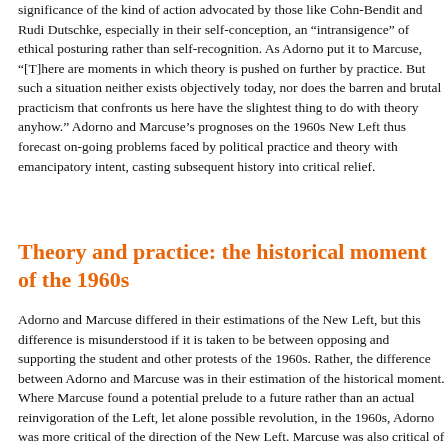significance of the kind of action advocated by those like Cohn-Bendit and Rudi Dutschke, especially in their self-conception, an “intransigence” of ethical posturing rather than self-recognition. As Adorno put it to Marcuse, “[T]here are moments in which theory is pushed on further by practice. But such a situation neither exists objectively today, nor does the barren and brutal practicism that confronts us here have the slightest thing to do with theory anyhow.” Adorno and Marcuse’s prognoses on the 1960s New Left thus forecast on-going problems faced by political practice and theory with emancipatory intent, casting subsequent history into critical relief.
Theory and practice: the historical moment of the 1960s
Adorno and Marcuse differed in their estimations of the New Left, but this difference is misunderstood if it is taken to be between opposing and supporting the student and other protests of the 1960s. Rather, the difference between Adorno and Marcuse was in their estimation of the historical moment. Where Marcuse found a potential prelude to a future rather than an actual reinvigoration of the Left, let alone possible revolution, in the 1960s, Adorno was more critical of the direction of the New Left. Marcuse was also critical of the New Left, but accommodated